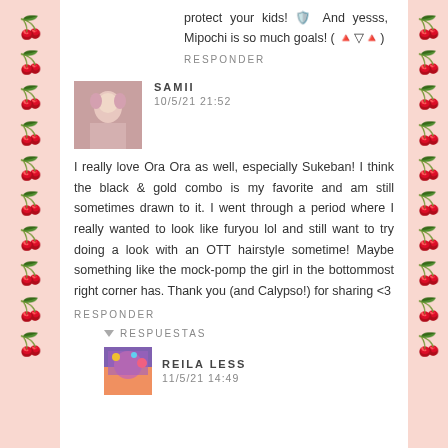protect your kids! 🛡️ And yesss, Mipochi is so much goals! ( 🔺▽🔺)
RESPONDER
[Figure (photo): Avatar photo of user Samii, a young woman wearing accessories]
SAMII
10/5/21 21:52
I really love Ora Ora as well, especially Sukeban! I think the black & gold combo is my favorite and am still sometimes drawn to it. I went through a period where I really wanted to look like furyou lol and still want to try doing a look with an OTT hairstyle sometime! Maybe something like the mock-pomp the girl in the bottommost right corner has. Thank you (and Calypso!) for sharing <3
RESPONDER
▼ RESPUESTAS
[Figure (photo): Avatar photo of user Reila Less, colorful image]
REILA LESS
11/5/21 14:49